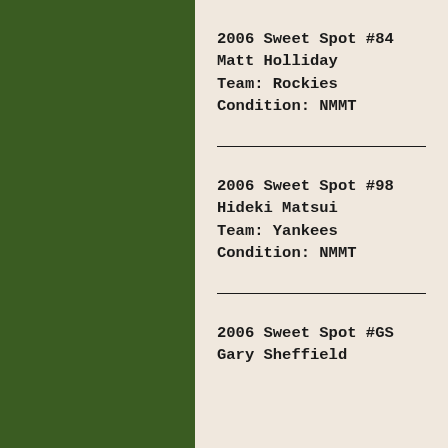[Figure (illustration): Solid dark green rectangular panel on the left side of the page]
2006 Sweet Spot #84
Matt Holliday
Team: Rockies
Condition: NMMT
2006 Sweet Spot #98
Hideki Matsui
Team: Yankees
Condition: NMMT
2006 Sweet Spot #GS
Gary Sheffield